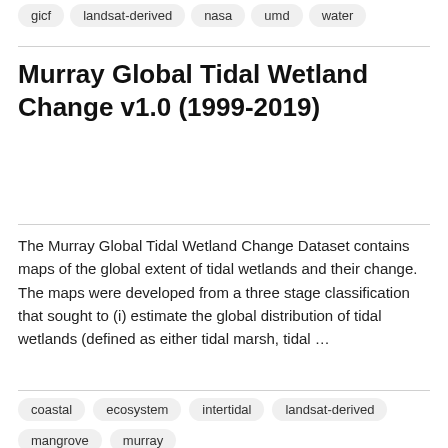gicf
landsat-derived
nasa
umd
water
Murray Global Tidal Wetland Change v1.0 (1999-2019)
The Murray Global Tidal Wetland Change Dataset contains maps of the global extent of tidal wetlands and their change. The maps were developed from a three stage classification that sought to (i) estimate the global distribution of tidal wetlands (defined as either tidal marsh, tidal …
coastal
ecosystem
intertidal
landsat-derived
mangrove
murray